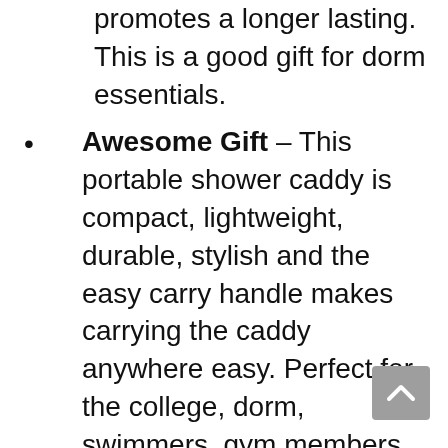promotes a longer lasting. This is a good gift for dorm essentials.
Awesome Gift – This portable shower caddy is compact, lightweight, durable, stylish and the easy carry handle makes carrying the caddy anywhere easy. Perfect for the college, dorm, swimmers, gym members, campers, travelers, mariners and cruisers.
After-sale Service – We are so confident with the quality of our shower caddy basket. But if you don't completely satisfied with this product